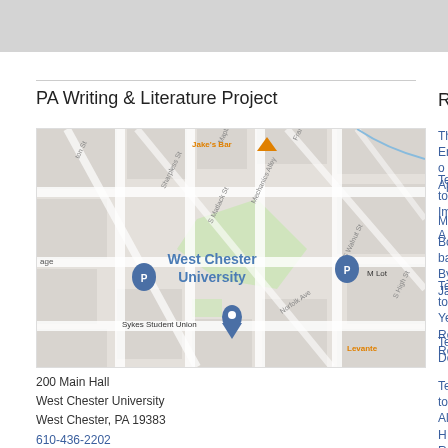PA Writing & Literature Project
[Figure (map): Google Maps showing West Chester University campus with Sykes Student Union marked, M Lot parking, and surrounding streets including Sharpless St, Mechanics Alley, S Walnut St, S High St, Norfolk Ave. Jake's Bar and Levante visible.]
200 Main Hall
West Chester University
West Chester, PA 19383
610-436-2202
Recent
The End of Approach…
Teacher to Importance…
Memoir, A…
Book-ban… By Janice…
Teacher to Year's Re… Reader
Teacher to Decisions…
Teacher to Alouds H… Readers &…